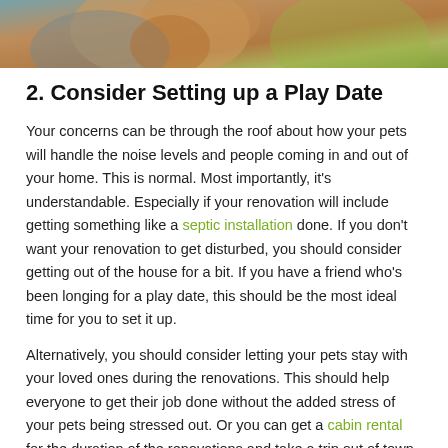[Figure (photo): Cropped photo showing a person and a pet (cat or dog), with warm tones and blurred background greenery, only the bottom portion visible.]
2. Consider Setting up a Play Date
Your concerns can be through the roof about how your pets will handle the noise levels and people coming in and out of your home. This is normal. Most importantly, it's understandable. Especially if your renovation will include getting something like a septic installation done. If you don't want your renovation to get disturbed, you should consider getting out of the house for a bit. If you have a friend who's been longing for a play date, this should be the most ideal time for you to set it up.
Alternatively, you should consider letting your pets stay with your loved ones during the renovations. This should help everyone to get their job done without the added stress of your pets being stressed out. Or you can get a cabin rental for the duration of the renovations and take a trip out of town for a few days. You don't